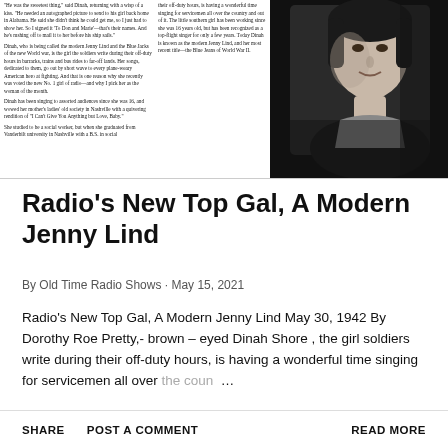[Figure (photo): Scanned newspaper page showing two columns of small text on the left and a black-and-white portrait photo of a woman (Dinah Shore) on the right]
Radio's New Top Gal, A Modern Jenny Lind
By Old Time Radio Shows · May 15, 2021
Radio's New Top Gal, A Modern Jenny Lind May 30, 1942 By Dorothy Roe Pretty,- brown – eyed Dinah Shore , the girl soldiers write during their off-duty hours, is having a wonderful time singing for servicemen all over the coun …
SHARE   POST A COMMENT   READ MORE